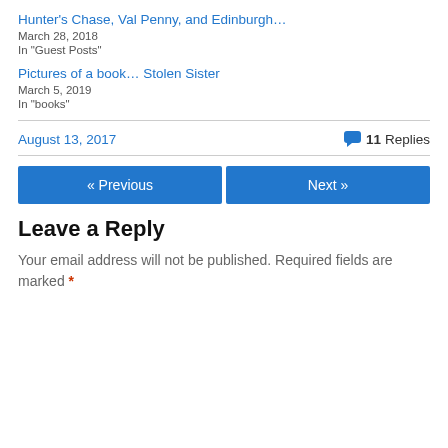Hunter's Chase, Val Penny, and Edinburgh…
March 28, 2018
In "Guest Posts"
Pictures of a book… Stolen Sister
March 5, 2019
In "books"
August 13, 2017
11 Replies
« Previous
Next »
Leave a Reply
Your email address will not be published. Required fields are marked *